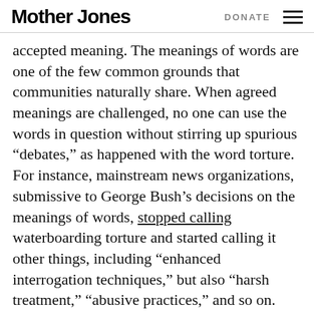Mother Jones  DONATE
accepted meaning. The meanings of words are one of the few common grounds that communities naturally share. When agreed meanings are challenged, no one can use the words in question without stirring up spurious “debates,” as happened with the word torture. For instance, mainstream news organizations, submissive to George Bush’s decisions on the meanings of words, stopped calling waterboarding torture and started calling it other things, including “enhanced interrogation techniques,” but also “harsh treatment,” “abusive practices,” and so on.
Will the news media now stop calling the war against Libya a war? No euphemism for war has yet